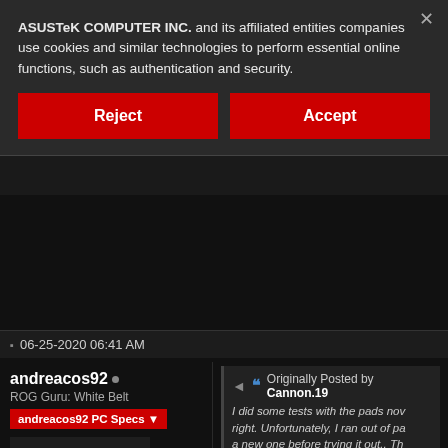ASUSTeK COMPUTER INC. and its affiliated entities companies use cookies and similar technologies to perform essential online functions, such as authentication and security.
Reject
Accept
06-25-2020 06:41 AM
andreacos92 •
ROG Guru: White Belt
andreacos92 PC Specs ▼
[Figure (photo): Avatar image of a metallic wheel/rotor component, dark background]
Originally Posted by Cannon.19
I did some tests with the pads now right. Unfortunately, I ran out of pa a new one before trying it out.. Th listened to you from the start. Guess I wanted to use the pads fo for them already.
On the one hand, I know this is a bit tedio waiting for a new thermal paste, I have be On the other hand, I'm happy that...